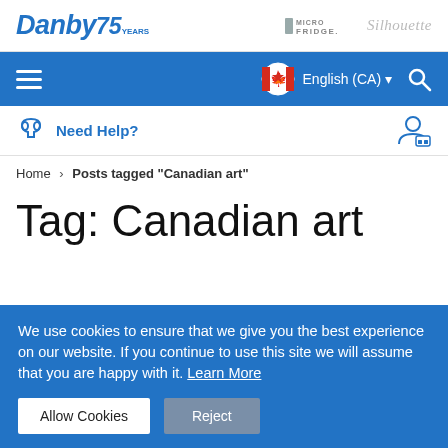Danby 75 Years | Micro Fridge | Silhouette
Menu | English (CA) | Search
Need Help?
Home › Posts tagged "Canadian art"
Tag: Canadian art
We use cookies to ensure that we give you the best experience on our website. If you continue to use this site we will assume that you are happy with it. Learn More
Allow Cookies | Reject